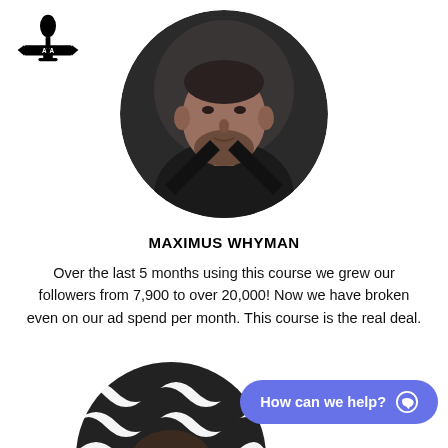ATA logo
[Figure (photo): Circular profile photo of Maximus Whyman — man in dark leather jacket with beard, dark background]
MAXIMUS WHYMAN
Over the last 5 months using this course we grew our followers from 7,900 to over 20,000! Now we have broken even on our ad spend per month. This course is the real deal.
[Figure (photo): Circular profile photo of second testimonial person — young man in black and white patterned top, partially visible]
How can we help?